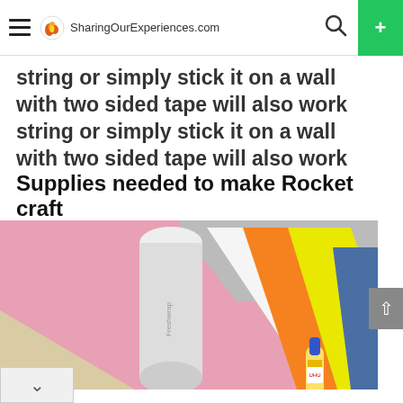SharingOurExperiences.com
string or simply stick it on a wall with two sided tape will also work
Supplies needed to make Rocket craft
[Figure (photo): Photo showing colorful craft supplies fanned out on a pink background: a paper roll (Freshwrap/Frescura brand), pink foam sheet, white paper, orange paper, yellow paper, blue cardboard, and a glue stick in the lower right corner.]